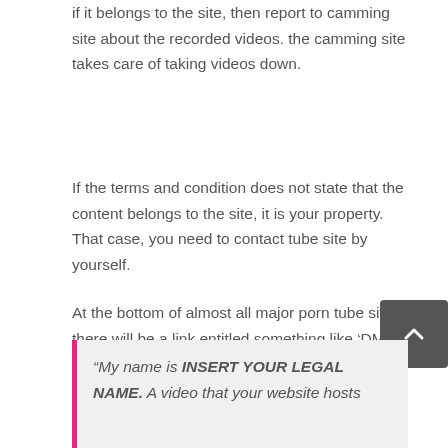if it belongs to the site, then report to camming site about the recorded videos. the camming site takes care of taking videos down.
If the terms and condition does not state that the content belongs to the site, it is your property. That case, you need to contact tube site by yourself.
At the bottom of almost all major porn tube sites, there will be a link entitled something like ‘DMCA’ or ‘ABUSE’ or simply ‘CONTACT’ which will give you an address to mail a notice of copyright infringement. Make a note of the URL of the video or videos, and copy them into the following letter:
“My name is INSERT YOUR LEGAL NAME. A video that your website hosts